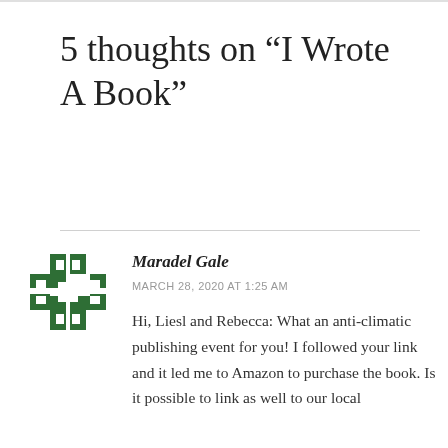5 thoughts on “I Wrote A Book”
Maradel Gale
MARCH 28, 2020 AT 1:25 AM
Hi, Liesl and Rebecca: What an anti-climatic publishing event for you! I followed your link and it led me to Amazon to purchase the book. Is it possible to link as well to our local